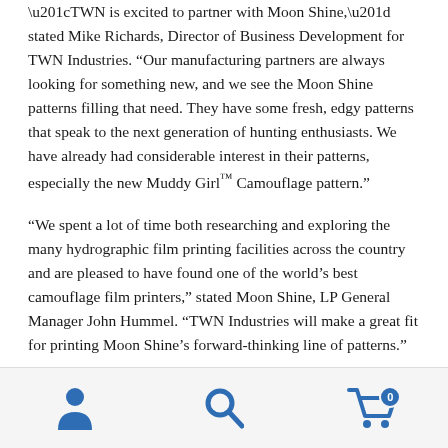“TWN is excited to partner with Moon Shine,” stated Mike Richards, Director of Business Development for TWN Industries. “Our manufacturing partners are always looking for something new, and we see the Moon Shine patterns filling that need. They have some fresh, edgy patterns that speak to the next generation of hunting enthusiasts. We have already had considerable interest in their patterns, especially the new Muddy Girl™ Camouflage pattern.”
“We spent a lot of time both researching and exploring the many hydrographic film printing facilities across the country and are pleased to have found one of the world’s best camouflage film printers,” stated Moon Shine, LP General Manager John Hummel. “TWN Industries will make a great fit for printing Moon Shine’s forward-thinking line of patterns.”
[Figure (infographic): Bottom navigation bar with three icons: a person/account icon, a search magnifying glass icon, and a shopping cart icon with a badge showing the number 0.]